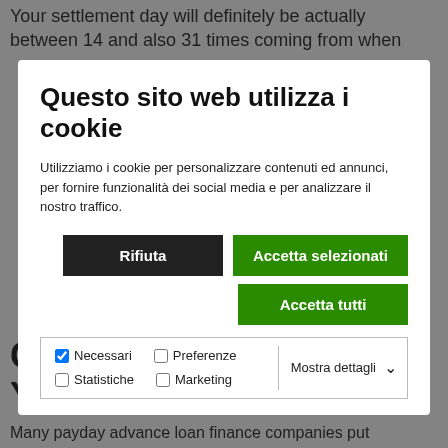Your settlement day will definitely be actually between 14 and also 31 times coming from when
Questo sito web utilizza i cookie
Utilizziamo i cookie per personalizzare contenuti ed annunci, per fornire funzionalità dei social media e per analizzare il nostro traffico.
Rifiuta | Accetta selezionati | Accetta tutti
Necessari  Preferenze  Statistiche  Marketing  Mostra dettagli
Can Easily Influence Your Credit
Many payday advance loan finance companies put